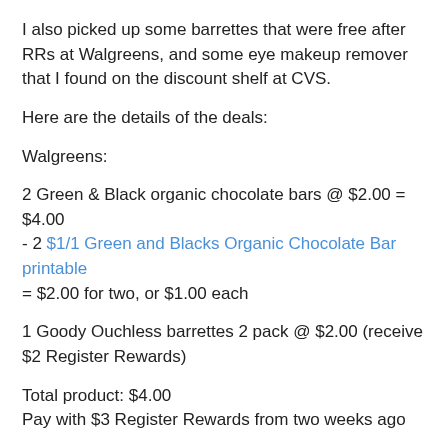I also picked up some barrettes that were free after RRs at Walgreens, and some eye makeup remover that I found on the discount shelf at CVS.
Here are the details of the deals:
Walgreens:
2 Green & Black organic chocolate bars @ $2.00 = $4.00 - 2 $1/1 Green and Blacks Organic Chocolate Bar printable = $2.00 for two, or $1.00 each
1 Goody Ouchless barrettes 2 pack @ $2.00 (receive $2 Register Rewards)
Total product: $4.00
Pay with $3 Register Rewards from two weeks ago
Total product after RRs: $1.00
Tax: 36¢
Total out of pocket: $1.36